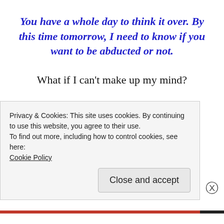You have a whole day to think it over.  By this time tomorrow, I need to know if you want to be abducted or not.
What if I can't make up my mind?
I need a definite “yes” from you.  Indecision means no.
I can’t believe this is happening.  I’m imagining
Privacy & Cookies: This site uses cookies. By continuing to use this website, you agree to their use.
To find out more, including how to control cookies, see here:
Cookie Policy
Close and accept